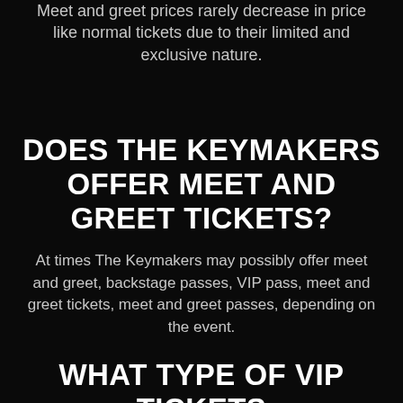Meet and greet prices rarely decrease in price like normal tickets due to their limited and exclusive nature.
DOES THE KEYMAKERS OFFER MEET AND GREET TICKETS?
At times The Keymakers may possibly offer meet and greet, backstage passes, VIP pass, meet and greet tickets, meet and greet passes, depending on the event.
WHAT TYPE OF VIP TICKETS